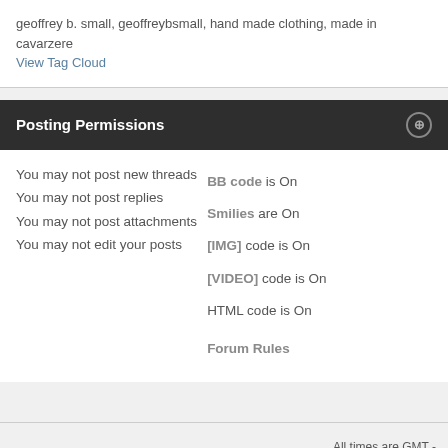geoffrey b. small, geoffreybsmall, hand made clothing, made in cavarzere
View Tag Cloud
Posting Permissions
You may not post new threads
You may not post replies
You may not post attachments
You may not edit your posts
BB code is On
Smilies are On
[IMG] code is On
[VIDEO] code is On
HTML code is On
Forum Rules
All times are GMT -
Powered by v
Copyright © 2022 vBulleti
vBulletin Metro Th